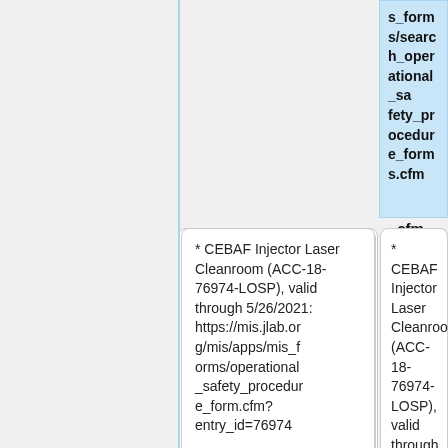s_forms/search_operational_safety_procedure_forms.cfm
* CEBAF Injector Laser Cleanroom (ACC-18-76974-LOSP), valid through 5/26/2021: https://mis.jlab.org/mis/apps/mis_forms/operational_safety_procedure_form.cfm?entry_id=76974
* CEBAF Injector Laser Cleanroom (ACC-18-76974-LOSP), valid through 5/26/2021: https://mis.jlab.org/mis/apps/mis_forms/operational_safety_procedure_form.cfm?entry_id=76974
* CEBAF Injector Laser System (ACC-19-94369-LOSP), valid
* CEBAF Injector Laser System (ACC-19-94369-LOSP), valid